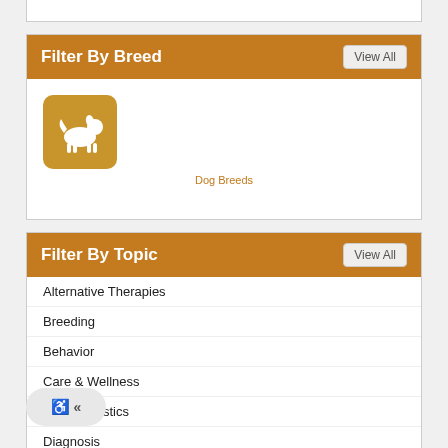Filter By Breed
[Figure (illustration): Dog breed icon: white silhouette of a dog on a brown rounded square background, labeled 'Dog Breeds']
Dog Breeds
Filter By Topic
Alternative Therapies
Breeding
Behavior
Care & Wellness
Characteristics
Diagnosis
Emergency Situations